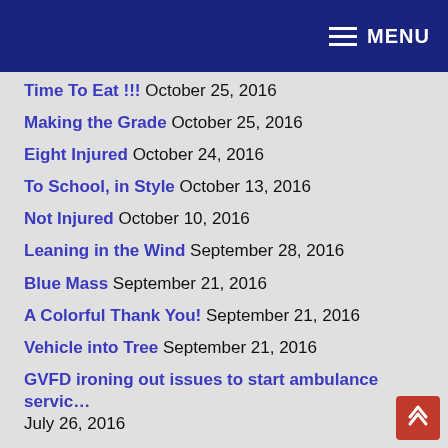MENU
Time To Eat !!! October 25, 2016
Making the Grade October 25, 2016
Eight Injured October 24, 2016
To School, in Style October 13, 2016
Not Injured October 10, 2016
Leaning in the Wind September 28, 2016
Blue Mass September 21, 2016
A Colorful Thank You! September 21, 2016
Vehicle into Tree September 21, 2016
GVFD ironing out issues to start ambulance service July 26, 2016